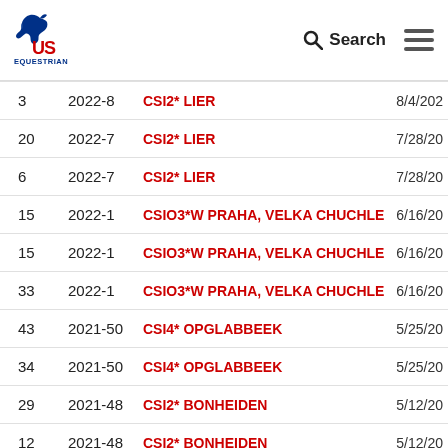[Figure (logo): US Equestrian logo with horse head silhouette and text US EQUESTRIAN]
Search (search icon) and hamburger menu icons
| # | Period | Event | Date |
| --- | --- | --- | --- |
| 3 | 2022-8 | CSI2* LIER | 8/4/202 |
| 20 | 2022-7 | CSI2* LIER | 7/28/20 |
| 6 | 2022-7 | CSI2* LIER | 7/28/20 |
| 15 | 2022-1 | CSIO3*W PRAHA, VELKA CHUCHLE | 6/16/20 |
| 15 | 2022-1 | CSIO3*W PRAHA, VELKA CHUCHLE | 6/16/20 |
| 33 | 2022-1 | CSIO3*W PRAHA, VELKA CHUCHLE | 6/16/20 |
| 43 | 2021-50 | CSI4* OPGLABBEEK | 5/25/20 |
| 34 | 2021-50 | CSI4* OPGLABBEEK | 5/25/20 |
| 29 | 2021-48 | CSI2* BONHEIDEN | 5/12/20 |
| 12 | 2021-48 | CSI2* BONHEIDEN | 5/12/20 |